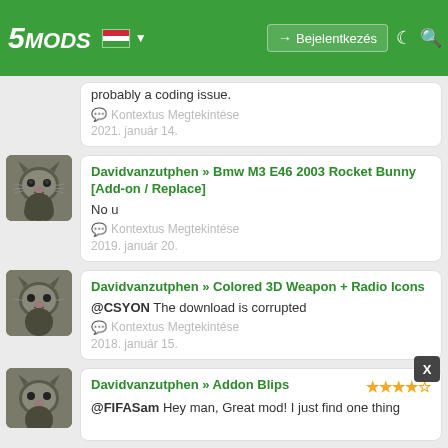5MODS | Bejelentkezés
@machine4378 Yeah, been looking for this. Opening the menu on the controller doesn't work, but if you hit the controller works just fine in the menu, so it's probably a coding issue.
Kontextus Megtekintése
2021. január 14.
Davidvanzutphen » Bmw M3 E46 2003 Rocket Bunny [Add-on / Replace]
No u
Kontextus Megtekintése
2019. január 20.
Davidvanzutphen » Colored 3D Weapon + Radio Icons
@CSYON The download is corrupted
Kontextus Megtekintése
2018. január 15.
Davidvanzutphen » Addon Blips
@FIFASam Hey man, Great mod! I just find one thing